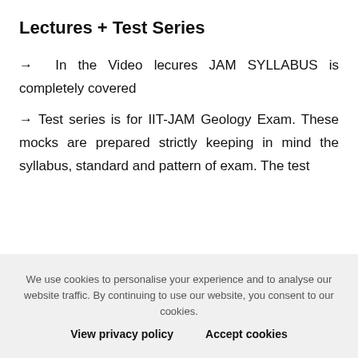Lectures + Test Series
→  In the Video lecures JAM SYLLABUS is completely covered
→ Test series is for IIT-JAM Geology Exam. These mocks are prepared strictly keeping in mind the syllabus, standard and pattern of exam. The test …
We use cookies to personalise your experience and to analyse our website traffic. By continuing to use our website, you consent to our cookies.
View privacy policy    Accept cookies